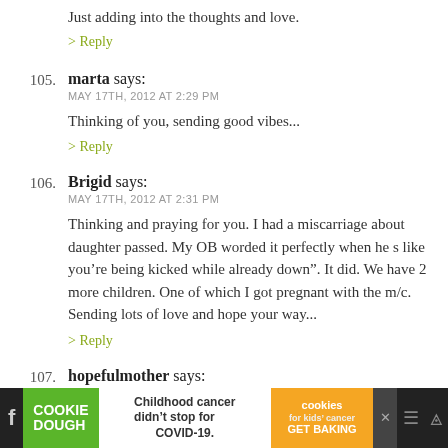Just adding into the thoughts and love.
> Reply
105. marta says:
MAY 17TH, 2012 AT 2:29 PM
Thinking of you, sending good vibes...
> Reply
106. Brigid says:
MAY 17TH, 2012 AT 2:31 PM
Thinking and praying for you. I had a miscarriage about daughter passed. My OB worded it perfectly when he s like you’re being kicked while already down”. It did. We have 2 more children. One of which I got pregnant with the m/c. Sending lots of love and hope your way...
> Reply
107. hopefulmother says:
[Figure (other): Advertisement banner: Cookie Dough - Childhood cancer didn't stop for COVID-19. cookies for kids' cancer GET BAKING]